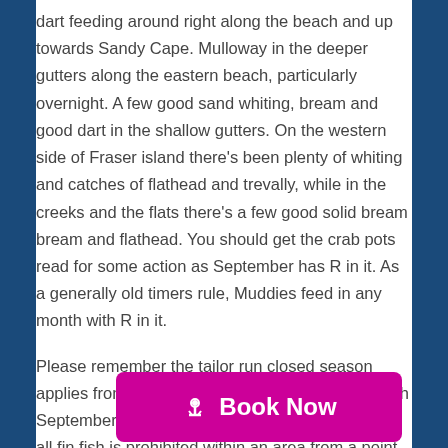dart feeding around right along the beach and up towards Sandy Cape. Mulloway in the deeper gutters along the eastern beach, particularly overnight. A few good sand whiting, bream and good dart in the shallow gutters. On the western side of Fraser island there's been plenty of whiting and catches of flathead and trevally, while in the creeks and the flats there's a few good solid bream bream and flathead. You should get the crab pots read for some action as September has R in it. As a generally old timers rule, Muddies feed in any month with R in it.
Please remember the tailor run closed season applies from midday, the 1st August to midday 30th September 2018. During the closure, the taking of all fin fish is prohibited within an area from a point 400m north of Waddy Point to a point 400m south of Indian Head, and 400m of... visit ww... download the free 'Qld Fishing' app from Apple and
[Figure (other): Magenta 'Book Now' button with anchor icon]